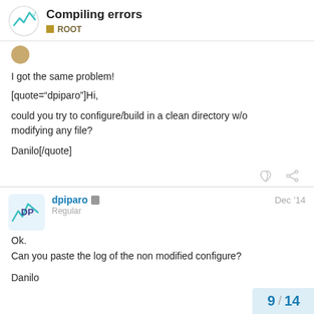Compiling errors — ROOT
I got the same problem!

[quote="dpiparo"]Hi,

could you try to configure/build in a clean directory w/o modifying any file?

Danilo[/quote]
dpiparo — Regular — Dec '14

Ok.
Can you paste the log of the non modified configure?

Danilo
9 / 14